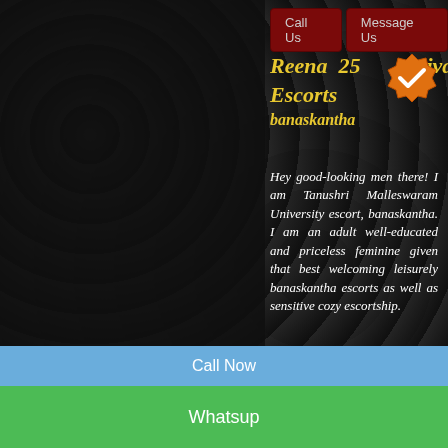Call Us   Message Us
Reena  25   Private Escorts
banaskantha
Hey good-looking men there! I am Tanushri Malleswaram University escort, banaskantha. I am an adult well-educated and priceless feminine given that best welcoming leisurely banaskantha escorts as well as sensitive cozy escortship.
Naughty Girls in banaskantha
Call Us   Message Us
Shefali  19   Private Escorts
Call Now
Whatsup